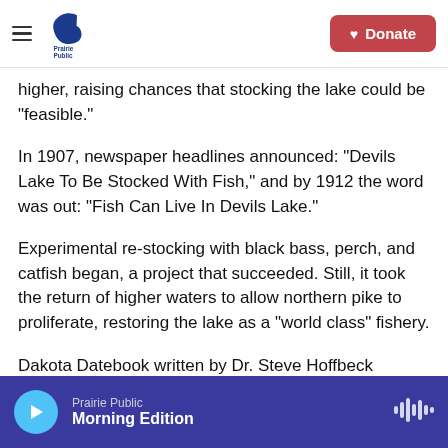Prairie Public — Donate
higher, raising chances that stocking the lake could be “feasible.”
In 1907, newspaper headlines announced: “Devils Lake To Be Stocked With Fish,” and by 1912 the word was out: “Fish Can Live In Devils Lake.”
Experimental re-stocking with black bass, perch, and catfish began, a project that succeeded. Still, it took the return of higher waters to allow northern pike to proliferate, restoring the lake as a “world class” fishery.
Dakota Datebook written by Dr. Steve Hoffbeck
Prairie Public — Morning Edition